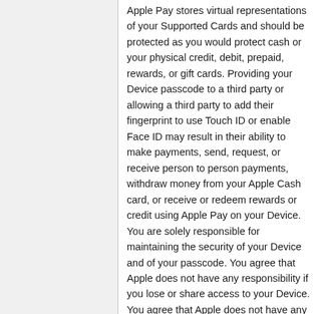Apple Pay stores virtual representations of your Supported Cards and should be protected as you would protect cash or your physical credit, debit, prepaid, rewards, or gift cards. Providing your Device passcode to a third party or allowing a third party to add their fingerprint to use Touch ID or enable Face ID may result in their ability to make payments, send, request, or receive person to person payments, withdraw money from your Apple Cash card, or receive or redeem rewards or credit using Apple Pay on your Device. You are solely responsible for maintaining the security of your Device and of your passcode. You agree that Apple does not have any responsibility if you lose or share access to your Device. You agree that Apple does not have any